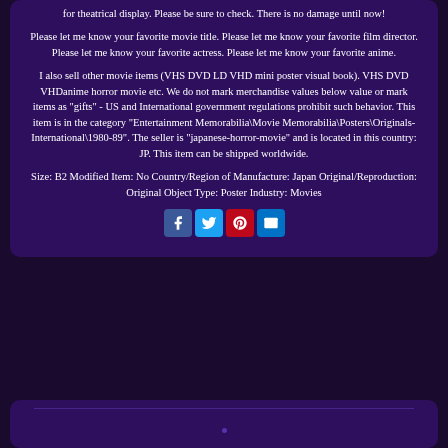for theatrical display. Please be sure to check. There is no damage until now!
Please let me know your favorite movie title. Please let me know your favorite film director. Please let me know your favorite actress. Please let me know your favorite anime.
I also sell other movie items (VHS DVD LD VHD mini poster visual book). VHS DVD VHDanime horror movie etc. We do not mark merchandise values below value or mark items as "gifts" - US and International government regulations prohibit such behavior. This item is in the category "Entertainment Memorabilia\Movie Memorabilia\Posters\Originals-International\1980-89". The seller is "japanese-horror-movie" and is located in this country: JP. This item can be shipped worldwide.
Size: B2 Modified Item: No Country/Region of Manufacture: Japan Original/Reproduction: Original Object Type: Poster Industry: Movies
[Figure (other): Social sharing buttons: Facebook, Twitter, Pinterest, Email]